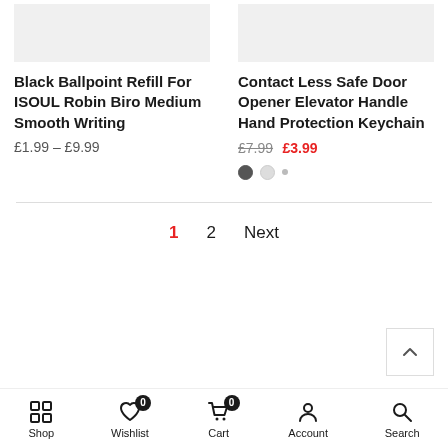Black Ballpoint Refill For ISOUL Robin Biro Medium Smooth Writing
£1.99 – £9.99
Contact Less Safe Door Opener Elevator Handle Hand Protection Keychain
£7.99 £3.99
1  2  Next
Shop  Wishlist 0  Cart 0  Account  Search